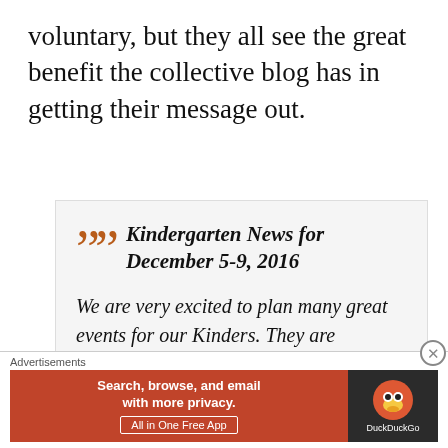voluntary, but they all see the great benefit the collective blog has in getting their message out.
[Figure (other): Pull quote box with orange closing quotation marks, bold italic title 'Kindergarten News for December 5-9, 2016', followed by italic body text beginning 'We are very excited to plan many great events for our Kinders. They are embracing all of our initiatives and as educators we are delighted to see']
[Figure (infographic): Advertisement banner for DuckDuckGo app: 'Search, browse, and email with more privacy. All in One Free App' on orange background with DuckDuckGo logo on dark background]